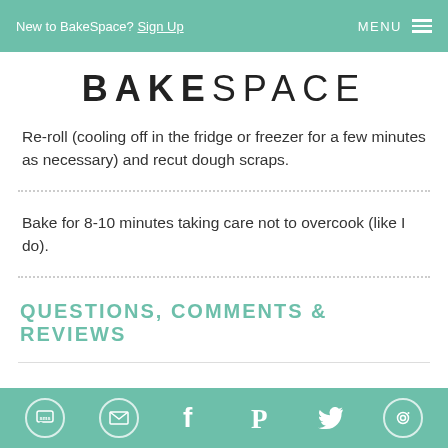New to BakeSpace? Sign Up   MENU
BAKESPACE
Re-roll (cooling off in the fridge or freezer for a few minutes as necessary) and recut dough scraps.
Bake for 8-10 minutes taking care not to overcook (like I do).
QUESTIONS, COMMENTS & REVIEWS
SMS  Email  Facebook  Pinterest  Twitter  Camera